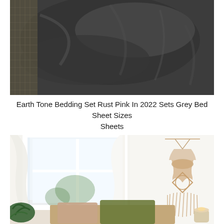[Figure (photo): Close-up photo of dark grey/charcoal bedding set with crumpled duvet and pillow on a textured surface]
Earth Tone Bedding Set Rust Pink In 2022 Sets Grey Bed Sheet Sizes Sheets
[Figure (photo): Bright bedroom interior with white curtains by a window, a macrame wall hanging on the right wall, olive green pillow and decorative plant visible, warm ambiance with candle]